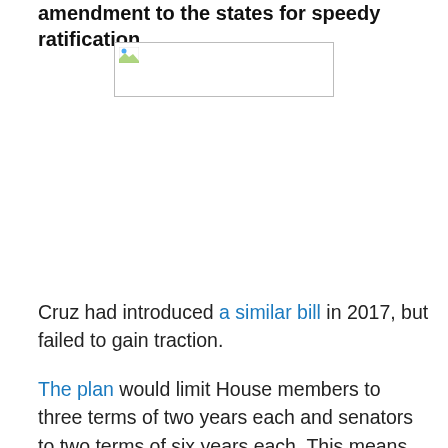amendment to the states for speedy ratification.
[Figure (photo): Placeholder image with broken image icon (image failed to load)]
Cruz had introduced a similar bill in 2017, but failed to gain traction.
The plan would limit House members to three terms of two years each and senators to two terms of six years each. This means that most people would be limited to 18 years in office, and only if they are elected to one office and then